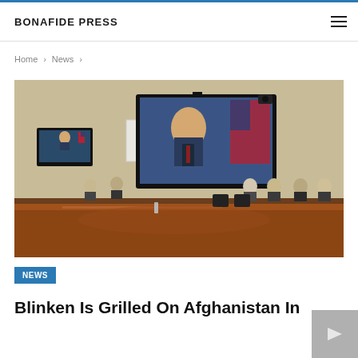BONAFIDE PRESS
Home › News ›
[Figure (photo): A congressional hearing room with a large monitor displaying Secretary Blinken testifying virtually. The hearing room shows a long wooden table in the foreground, Senate/House committee style seating, paneled wood walls with a portrait painting, and US flags visible on the monitor screen.]
NEWS
Blinken Is Grilled On Afghanistan In